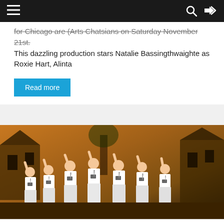Navigation bar with menu, search, and shuffle icons
for Chicago are (Arts Chatsians on Saturday November 21st. This dazzling production stars Natalie Bassingthwaighte as Roxie Hart, Alinta
Read more
[Figure (photo): A group of seven male performers on stage dressed in white shirts and white trousers with ties, raising their fists in the air in a triumphant pose. The stage background shows a warm orange-brown scenery with structures resembling a rural or desert setting.]